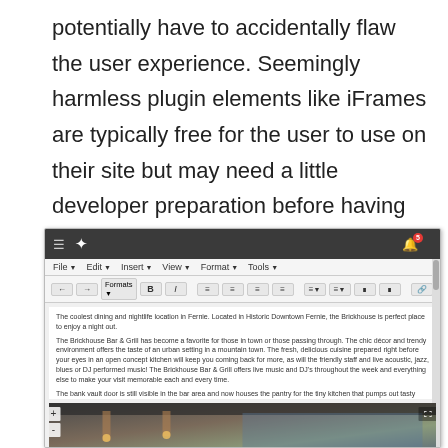potentially have to accidentally flaw the user experience. Seemingly harmless plugin elements like iFrames are typically free for the user to use on their site but may need a little developer preparation before having at it.
[Figure (screenshot): Screenshot of a CMS/website editor interface showing a dark top navigation bar with a bird logo icon and notification bell with badge showing '5', a menu bar with File, Edit, Insert, View, Format, Tools options, a formatting toolbar with bold, italic, alignment and list buttons, and a content area showing text about 'The coolest dining and nightlife location in Fernie' and 'The Brickhouse Bar & Grill', with a restaurant interior photo partially visible at the bottom.]